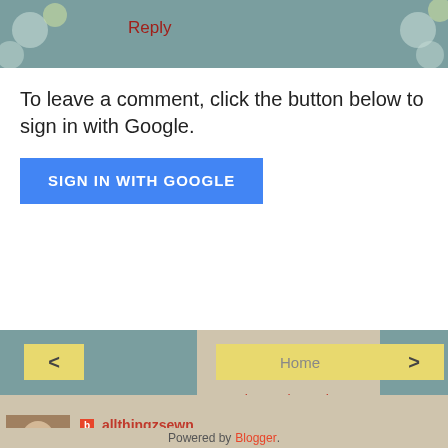Reply
To leave a comment, click the button below to sign in with Google.
SIGN IN WITH GOOGLE
Home
< >
View web version
allthingzsewn
Retired great grandmother, living on farm in kentucky with husband of 37 yrs. Love my God,family and friends. I'm an animal lover of all sorts. And enjoy sewing, gardening and yard sales. Blessings Tonia
View my complete profile
Powered by Blogger.